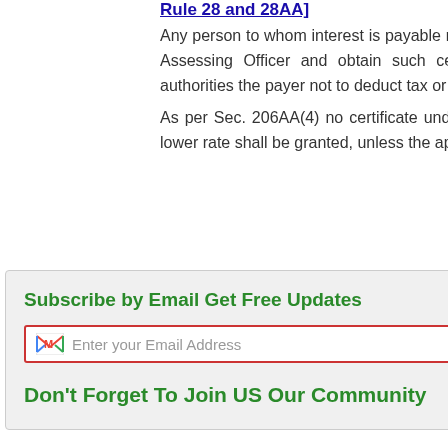Rule 28 and 28AA]
Any person to whom interest is payable may make an application in Form No. 13 to the Assessing Officer and obtain such certificate from him, as may be appropriate, authorities the payer not to deduct tax or to deduct tax at a lower rate.
As per Sec. 206AA(4) no certificate under Sec. 197 for deduction of tax at Nil rate or lower rate shall be granted, unless the application made under that section contains
[Figure (screenshot): Email subscription popup overlay with green title 'Subscribe by Email Get Free Updates', Gmail icon email input field, purple Subscribe button, and green bold text 'Don't Forget To Join US Our Community'. A red X close button is visible at top right of the popup. Behind the popup, partial text continues with 'the', 'ax at', 'e for', 'erson', 'fined'.]
the
ax at
e for
erson
fined